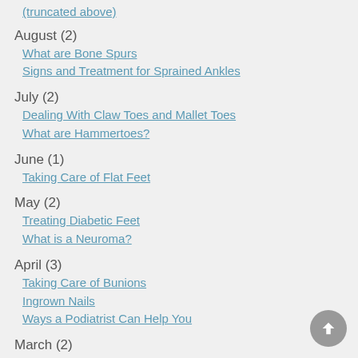(truncated link above)
August (2)
What are Bone Spurs
Signs and Treatment for Sprained Ankles
July (2)
Dealing With Claw Toes and Mallet Toes
What are Hammertoes?
June (1)
Taking Care of Flat Feet
May (2)
Treating Diabetic Feet
What is a Neuroma?
April (3)
Taking Care of Bunions
Ingrown Nails
Ways a Podiatrist Can Help You
March (2)
Treatment for Minor Foot Injuries